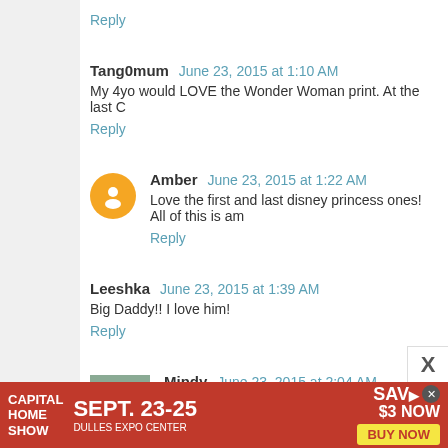Reply
Tang0mum  June 23, 2015 at 1:10 AM
My 4yo would LOVE the Wonder Woman print. At the last C
Reply
Amber  June 23, 2015 at 1:22 AM
Love the first and last disney princess ones! All of this is am
Reply
Leeshka  June 23, 2015 at 1:39 AM
Big Daddy!! I love him!
Reply
Mindy  June 23, 2015 at 2:04 AM
My daughter is very big into Disney princesses right n of back lighting to really make them glow!
[Figure (photo): Avatar photo of Mindy, a person with a child]
[Figure (infographic): Capital Home Show advertisement banner: SEPT. 23-25, DULLES EXPO CENTER, SAVE $3 NOW, BUY NOW]